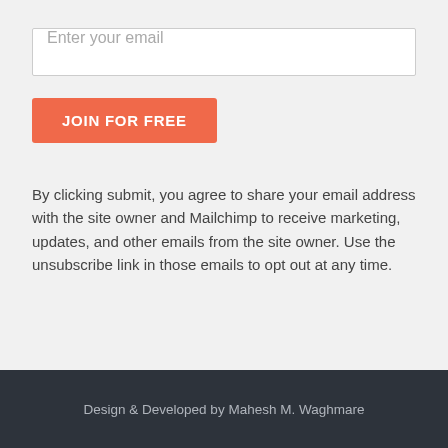Enter your email
JOIN FOR FREE
By clicking submit, you agree to share your email address with the site owner and Mailchimp to receive marketing, updates, and other emails from the site owner. Use the unsubscribe link in those emails to opt out at any time.
Design & Developed by Mahesh M. Waghmare